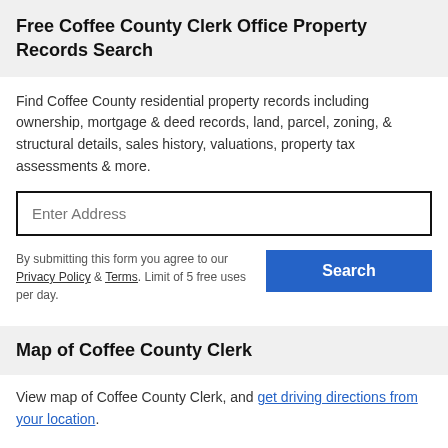Free Coffee County Clerk Office Property Records Search
Find Coffee County residential property records including ownership, mortgage & deed records, land, parcel, zoning, & structural details, sales history, valuations, property tax assessments & more.
By submitting this form you agree to our Privacy Policy & Terms. Limit of 5 free uses per day.
Map of Coffee County Clerk
View map of Coffee County Clerk, and get driving directions from your location.